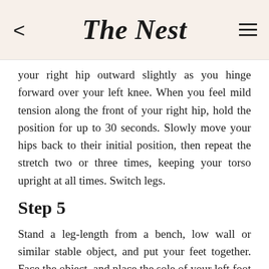The Nest
your right hip outward slightly as you hinge forward over your left knee. When you feel mild tension along the front of your right hip, hold the position for up to 30 seconds. Slowly move your hips back to their initial position, then repeat the stretch two or three times, keeping your torso upright at all times. Switch legs.
Step 5
Stand a leg-length from a bench, low wall or similar stable object, and put your feet together. Face the object, and place the sole of your left foot on its surface. Tighten your abs and buttocks and slowly